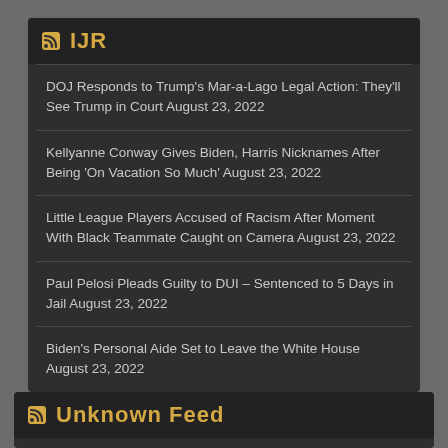IJR
DOJ Responds to Trump's Mar-a-Lago Legal Action: They'll See Trump in Court August 23, 2022
Kellyanne Conway Gives Biden, Harris Nicknames After Being 'On Vacation So Much' August 23, 2022
Little League Players Accused of Racism After Moment With Black Teammate Caught on Camera August 23, 2022
Paul Pelosi Pleads Guilty to DUI – Sentenced to 5 Days in Jail August 23, 2022
Biden's Personal Aide Set to Leave the White House August 23, 2022
Unknown Feed